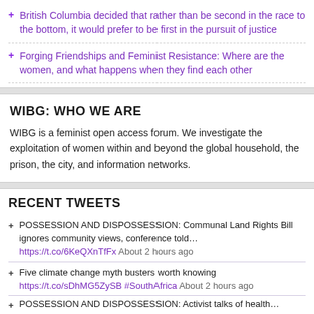British Columbia decided that rather than be second in the race to the bottom, it would prefer to be first in the pursuit of justice
Forging Friendships and Feminist Resistance: Where are the women, and what happens when they find each other
WIBG: WHO WE ARE
WIBG is a feminist open access forum. We investigate the exploitation of women within and beyond the global household, the prison, the city, and information networks.
RECENT TWEETS
POSSESSION AND DISPOSSESSION: Communal Land Rights Bill ignores community views, conference told… https://t.co/6KeQXnTfFx About 2 hours ago
Five climate change myth busters worth knowing https://t.co/sDhMG5ZySB #SouthAfrica About 2 hours ago
POSSESSION AND DISPOSSESSION: Activist talks of health…